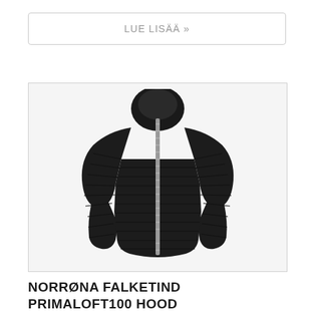LUE LISÄÄ »
[Figure (photo): Black hooded quilted down jacket (Norrøna Falketind Primaloft100 Hood) photographed on a plain background, shown from the front. The jacket features a silver zipper running vertically down the center and horizontal quilted stitching throughout.]
NORRØNA FALKETIND PRIMALOFT100 HOOD